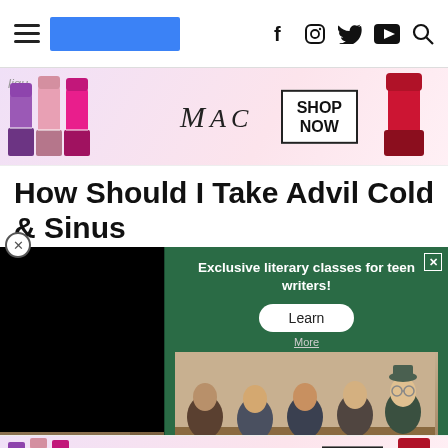Navigation bar with hamburger menu, logo, and social icons (Facebook, Instagram, Twitter, YouTube, Search)
[Figure (advertisement): MAC cosmetics lipstick advertisement with 'SHOP NOW' call to action, showing colorful lipsticks on pink background]
How Should I Take Advil Cold & Sinus
[Figure (screenshot): Black video player overlay on left side, with a green popup advertisement for 'Exclusive literary classes for teen writers!' with a Learn button, overlaid on a photo of teens in a classroom setting. A CLOSE button appears at bottom right.]
[Figure (advertisement): MAC cosmetics lipstick advertisement at bottom of page with 'SHOP NOW' call to action]